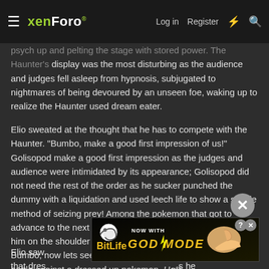xenForo — Log in | Register
psych up and pelting the stage with stored power. The Haunter's display was the most disturbing as the audience and judges fell asleep from hypnosis, subjugated to nightmares of being devoured by an unseen foe, waking up to realize the Haunter used dream eater.
Elio sweated at the thought that he has to compete with the Haunter. "Bumbo, make a good first impression of us!" Golisopod make a good first impression as the judges and audience were intimidated by its appearance; Golisopod did not need the rest of the order as he sucker punched the dummy with a liquidation and used leech life to show a simple method of seizing prey! Among the pokemon that got to advance to the next round, it was the Golisopod. Elio patted him on the shoulder and whispered. "You did a good job Bumbo, now lets see what the next one is ab... seriously? A battle against a dressed up pokemon. Ha!"
Elio saw... ...eve that dres... ...s he
[Figure (screenshot): BitLife advertisement banner — NOW WITH GOD MODE, with snail logo and hand graphic, close and help buttons]